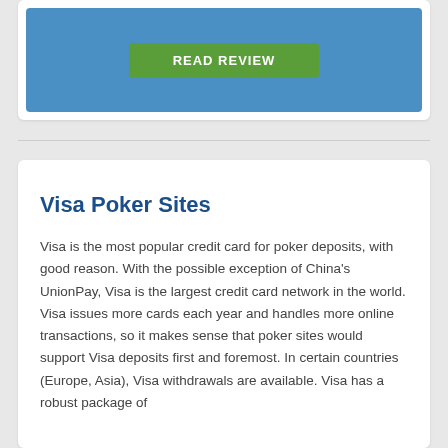[Figure (other): Blue card with green READ REVIEW button]
Visa Poker Sites
Visa is the most popular credit card for poker deposits, with good reason. With the possible exception of China's UnionPay, Visa is the largest credit card network in the world. Visa issues more cards each year and handles more online transactions, so it makes sense that poker sites would support Visa deposits first and foremost. In certain countries (Europe, Asia), Visa withdrawals are available. Visa has a robust package of